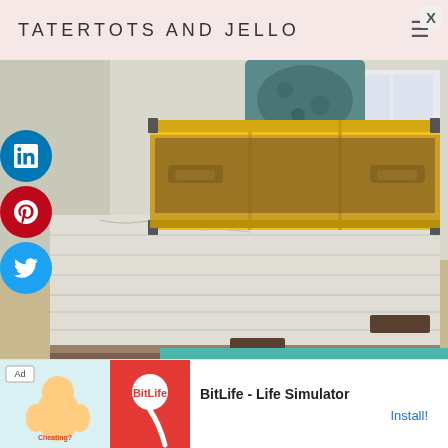TATERTOTS AND JELLO
[Figure (photo): Rustic distressed white wooden coffee table with a yellow wooden crate on top, photographed in a living room setting. The table has dark metal or wood corner brackets and sits on carpet. The lower half of the image shows the table legs extending to the floor.]
[Figure (screenshot): Mobile advertisement banner for 'BitLife - Life Simulator' app, showing Ad label, cartoon illustration on blue/yellow background, red BitLife logo panel, app name text, and Install! call-to-action button. A close (X) button appears in the top right corner.]